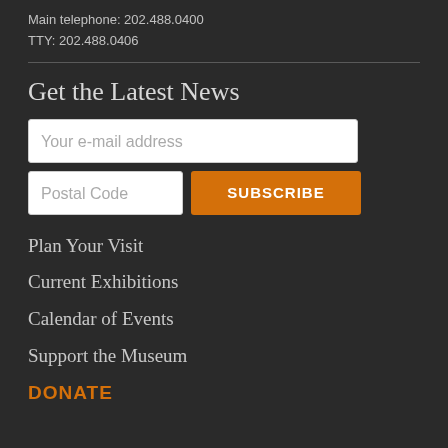Main telephone: 202.488.0400
TTY: 202.488.0406
Get the Latest News
Your e-mail address
Postal Code
SUBSCRIBE
Plan Your Visit
Current Exhibitions
Calendar of Events
Support the Museum
DONATE